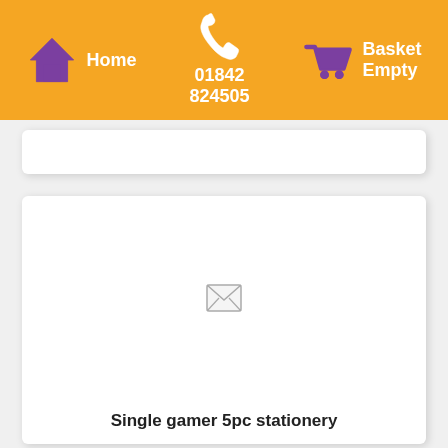Home | 01842 824505 | Basket Empty
[Figure (screenshot): Partial product card from previous item, cropped at top of page]
[Figure (screenshot): Product card with placeholder envelope image icon for 'Single gamer 5pc stationery' product]
Single gamer 5pc stationery